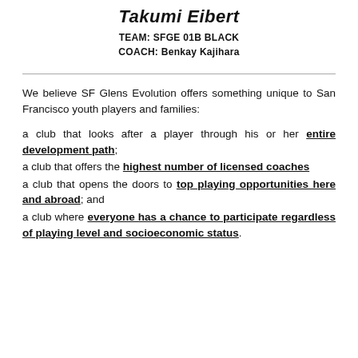Takumi Eibert
TEAM: SFGE 01B BLACK
COACH: Benkay Kajihara
We believe SF Glens Evolution offers something unique to San Francisco youth players and families:
a club that looks after a player through his or her entire development path;
a club that offers the highest number of licensed coaches
a club that opens the doors to top playing opportunities here and abroad; and
a club where everyone has a chance to participate regardless of playing level and socioeconomic status.